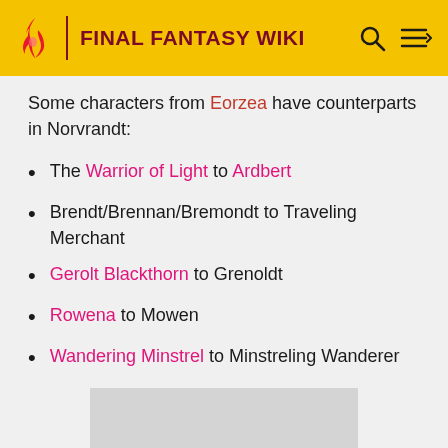FINAL FANTASY WIKI
Some characters from Eorzea have counterparts in Norvrandt:
The Warrior of Light to Ardbert
Brendt/Brennan/Bremondt to Traveling Merchant
Gerolt Blackthorn to Grenoldt
Rowena to Mowen
Wandering Minstrel to Minstreling Wanderer
[Figure (photo): Gray placeholder image below the list]